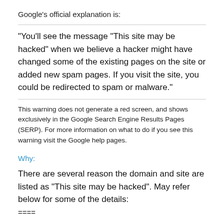Google's official explanation is:
"You'll see the message "This site may be hacked" when we believe a hacker might have changed some of the existing pages on the site or added new spam pages. If you visit the site, you could be redirected to spam or malware."
This warning does not generate a red screen, and shows exclusively in the Google Search Engine Results Pages (SERP). For more information on what to do if you see this warning visit the Google help pages.
Why:
There are several reason the domain and site are listed as "This site may be hacked". May refer below for some of the details:
====